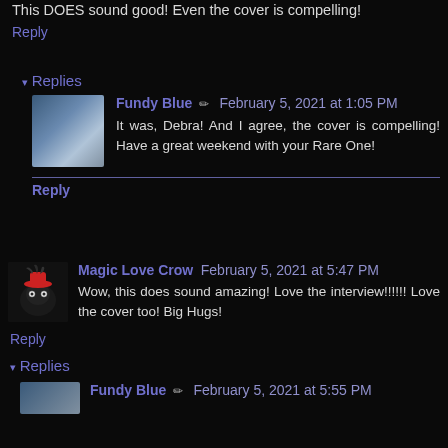This DOES sound good! Even the cover is compelling!
Reply
▾ Replies
Fundy Blue ✏ February 5, 2021 at 1:05 PM
It was, Debra! And I agree, the cover is compelling! Have a great weekend with your Rare One!
Reply
Magic Love Crow  February 5, 2021 at 5:47 PM
Wow, this does sound amazing! Love the interview!!!!!! Love the cover too! Big Hugs!
Reply
▾ Replies
Fundy Blue ✏ February 5, 2021 at 5:55 PM